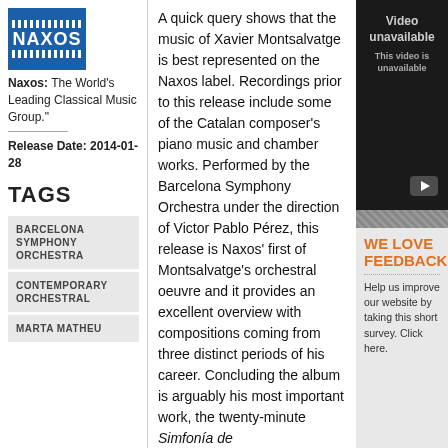[Figure (logo): Naxos blue logo with horizontal stripe pattern and bold NAXOS text]
Naxos: The World's Leading Classical Music Group."
Release Date: 2014-01-28
TAGS
BARCELONA SYMPHONY ORCHESTRA
CONTEMPORARY ORCHESTRAL
MARTA MATHEU
A quick query shows that the music of Xavier Montsalvatge is best represented on the Naxos label. Recordings prior to this release include some of the Catalan composer's piano music and chamber works. Performed by the Barcelona Symphony Orchestra under the direction of Victor Pablo Pérez, this release is Naxos' first of Montsalvatge's orchestral oeuvre and it provides an excellent overview with compositions coming from three distinct periods of his career. Concluding the album is arguably his most important work, the twenty-minute Simfonía de
[Figure (screenshot): Video unavailable box — dark background with text 'Video unavailable' and 'This video is unavailable' and a play button icon]
WE LOVE FEEDBACK
Help us improve our website by taking this short survey. Click here.